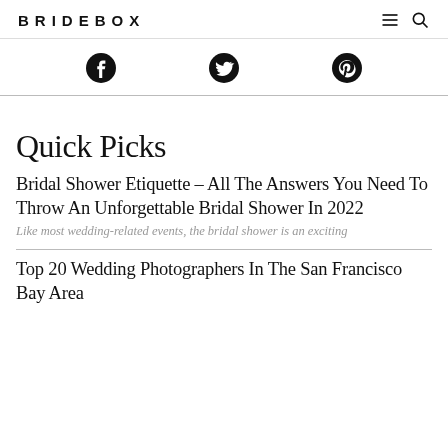BRIDEBOX
[Figure (other): Social media share icons: Facebook, Twitter, Pinterest]
Quick Picks
Bridal Shower Etiquette – All The Answers You Need To Throw An Unforgettable Bridal Shower In 2022
Like most wedding-related events, the bridal shower is an exciting
Top 20 Wedding Photographers In The San Francisco Bay Area